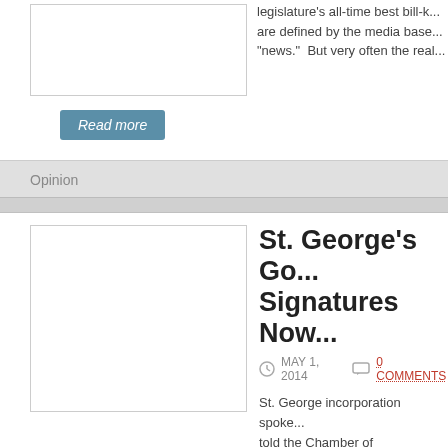[Figure (photo): Image placeholder box (top article)]
legislature's all-time best bill-k... are defined by the media base... "news." But very often the real...
Read more
Opinion
[Figure (photo): Image placeholder box (bottom article)]
St. George's Go... Signatures Now...
MAY 1, 2014   0 COMMENTS
St. George incorporation spoke... told the Chamber of Commerce... Tuesday that July 23, 2014, us... supporters but now it is a hard... said that we hope to have the s... incorporation of St. George on...
Read more